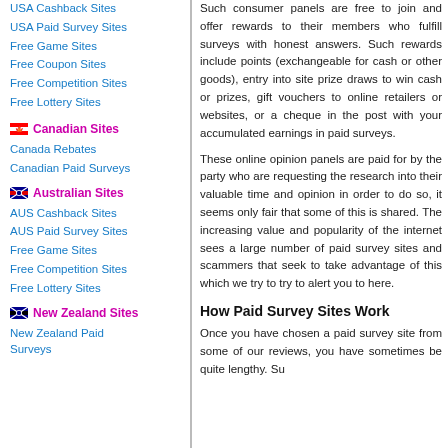USA Cashback Sites
USA Paid Survey Sites
Free Game Sites
Free Coupon Sites
Free Competition Sites
Free Lottery Sites
Canadian Sites
Canada Rebates
Canadian Paid Surveys
Australian Sites
AUS Cashback Sites
AUS Paid Survey Sites
Free Game Sites
Free Competition Sites
Free Lottery Sites
New Zealand Sites
New Zealand Paid Surveys
Such consumer panels are free to join and offer rewards to their members who fulfill surveys with honest answers. Such rewards include points (exchangeable for cash or other goods), entry into site prize draws to win cash or prizes, gift vouchers to online retailers or websites, or a cheque in the post with your accumulated earnings in paid surveys.
These online opinion panels are paid for by the party who are requesting the research into their valuable time and opinion in order to do so, it seems only fair that some of this is shared. The increasing value and popularity of the internet sees a large number of paid survey sites and scammers that seek to take advantage of this which we try to try to alert you to here.
How Paid Survey Sites Work
Once you have chosen a paid survey site from some of our reviews, you have sometimes be quite lengthy. Su